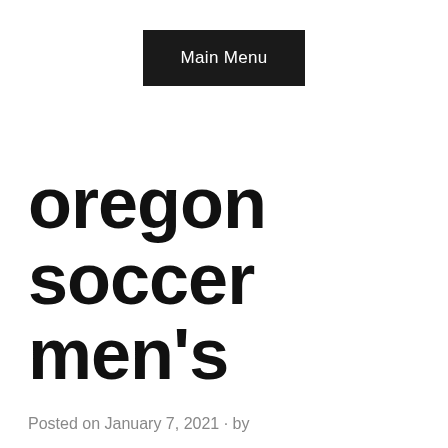Main Menu
oregon soccer men's
Posted on January 7, 2021 · by
It is the goal of the OPSL to provide a league with the best competition, best referees and best facilities. The Oregon State Beavers men's soccer